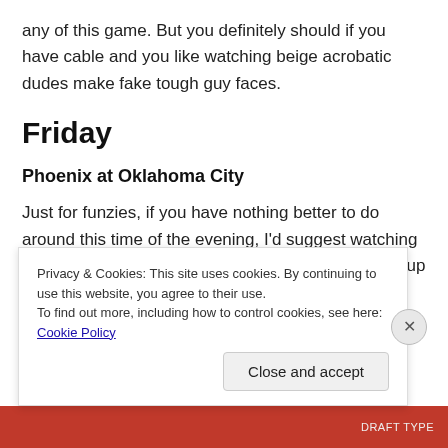any of this game. But you definitely should if you have cable and you like watching beige acrobatic dudes make fake tough guy faces.
Friday
Phoenix at Oklahoma City
Just for funzies, if you have nothing better to do around this time of the evening, I’d suggest watching the first half, hitting the liquor store, calling in a pickup order, and then
Privacy & Cookies: This site uses cookies. By continuing to use this website, you agree to their use.
To find out more, including how to control cookies, see here: Cookie Policy
Close and accept